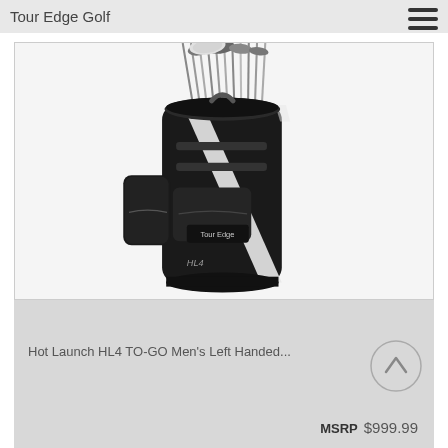[Figure (photo): Tour Edge Golf bag (black with white stripes and Tour Edge branding) filled with golf clubs, viewed against a white background. The bag is a cart-style bag labeled HL4.]
Tour Edge Golf
Hot Launch HL4 TO-GO Men's Left Handed...
MSRP $999.99